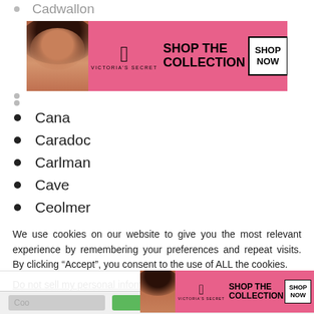Cadwallon
[Figure (photo): Victoria's Secret advertisement banner with a model, VS logo, 'SHOP THE COLLECTION' text, and 'SHOP NOW' button on a pink background]
Cana
Caradoc
Carlman
Cave
Ceolmer
Ceolred (2)
Ceolric (2)
We use cookies on our website to give you the most relevant experience by remembering your preferences and repeat visits. By clicking “Accept”, you consent to the use of ALL the cookies.
Do not sell my personal information.
[Figure (screenshot): Cookie consent bar with greyed-out button, green button, CLOSE button, and Victoria's Secret ad banner at the bottom]